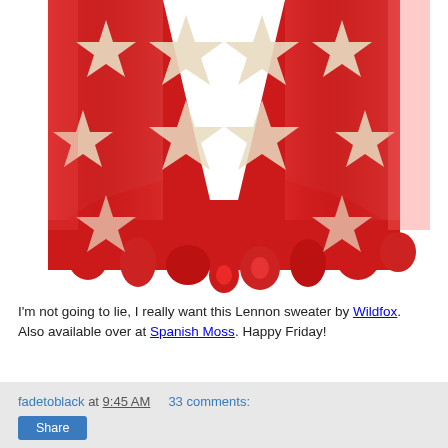[Figure (photo): Close-up photo of a red knit sweater with cream/beige star pattern, showing the distressed/fringe hem detail. The sweater has multiple large stars visible and metallic red sheen to the fabric.]
I'm not going to lie, I really want this Lennon sweater by Wildfox. Also available over at Spanish Moss. Happy Friday!
fadetoblack at 9:45 AM   33 comments: